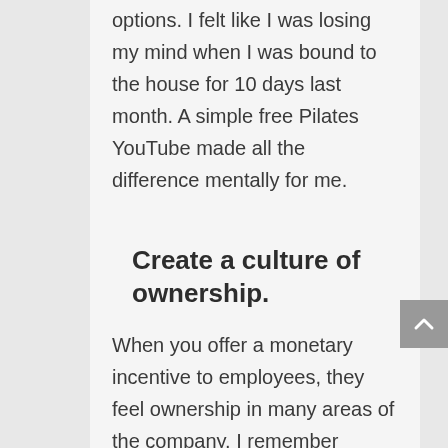options. I felt like I was losing my mind when I was bound to the house for 10 days last month. A simple free Pilates YouTube made all the difference mentally for me.
Create a culture of ownership.
When you offer a monetary incentive to employees, they feel ownership in many areas of the company. I remember working for a company where I